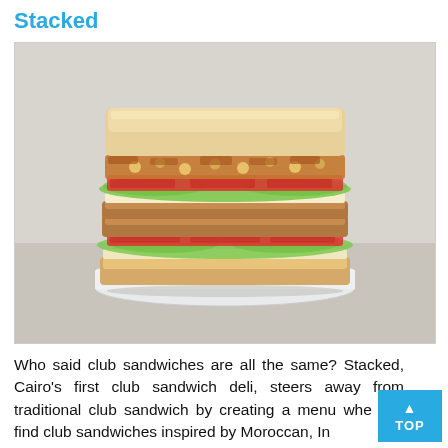Stacked
[Figure (photo): A tall double-layer club sandwich with lettuce, tomato, meat, chickpea filling, and white bread slices, served on a white rectangular plate on a linen surface.]
Who said club sandwiches are all the same? Stacked, Cairo's first club sandwich deli, steers away from traditional club sandwich by creating a menu where you can find club sandwiches inspired by Moroccan, Indian...